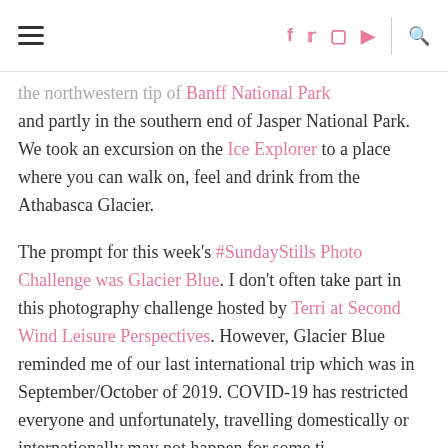[hamburger menu] [f] [t] [instagram] [youtube] | [search]
the northwestern tip of Banff National Park and partly in the southern end of Jasper National Park. We took an excursion on the Ice Explorer to a place where you can walk on, feel and drink from the Athabasca Glacier.
The prompt for this week's #SundayStills Photo Challenge was Glacier Blue. I don't often take part in this photography challenge hosted by Terri at Second Wind Leisure Perspectives. However, Glacier Blue reminded me of our last international trip which was in September/October of 2019. COVID-19 has restricted everyone and unfortunately, travelling domestically or internationally may not happen for some ti...